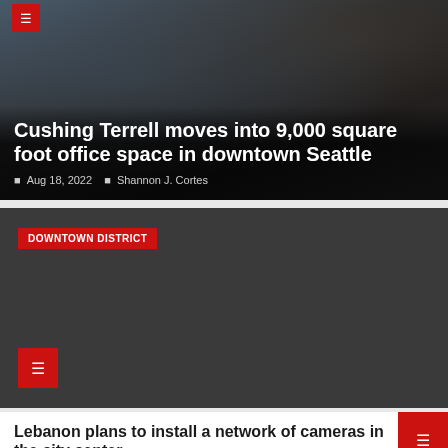[Figure (photo): Office interior photo with dark tones, showing bar stools and modern furniture. Red icon overlay in top-left corner.]
Cushing Terrell moves into 9,000 square foot office space in downtown Seattle
Aug 18, 2022  Shannon J. Cortes
[Figure (photo): Dark gray card with DOWNTOWN DISTRICT red tag label and a red icon in the bottom-left corner.]
Lebanon plans to install a network of cameras in the city center